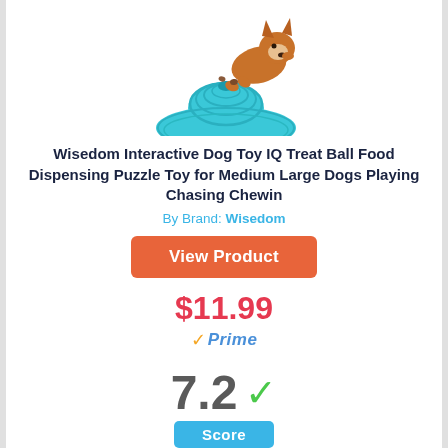[Figure (photo): Blue flying saucer-shaped dog treat ball toy with a small dog (Corgi) sniffing it, with kibble scattered around]
Wisedom Interactive Dog Toy IQ Treat Ball Food Dispensing Puzzle Toy for Medium Large Dogs Playing Chasing Chewin
By Brand: Wisedom
View Product
$11.99
✓Prime
7.2 ✓
Score